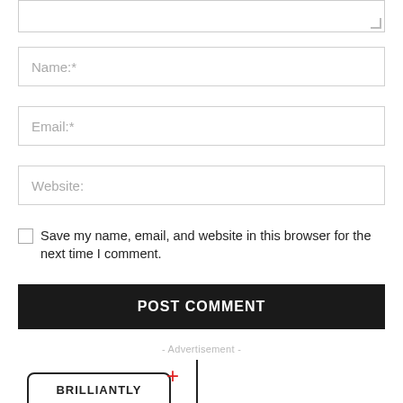[Figure (screenshot): Partial textarea input box at top of page (comment form)]
Name:*
Email:*
Website:
Save my name, email, and website in this browser for the next time I comment.
POST COMMENT
- Advertisement -
[Figure (logo): Brilliantly logo with red plus sign and vertical bar]